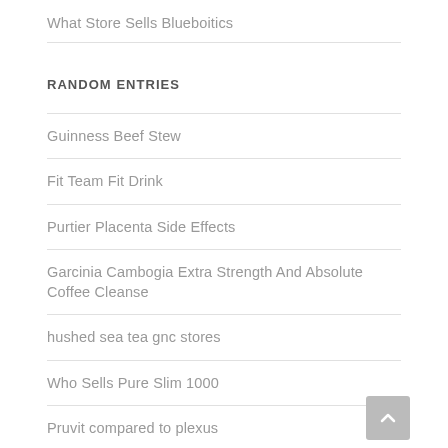What Store Sells Blueboitics
RANDOM ENTRIES
Guinness Beef Stew
Fit Team Fit Drink
Purtier Placenta Side Effects
Garcinia Cambogia Extra Strength And Absolute Coffee Cleanse
hushed sea tea gnc stores
Who Sells Pure Slim 1000
Pruvit compared to plexus
blake sheldon/forskolin